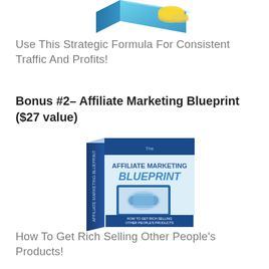[Figure (illustration): Partial view of a product box illustration at top of page, showing a book/box with gold coins]
Use This Strategic Formula For Consistent Traffic And Profits!
Bonus #2– Affiliate Marketing Blueprint ($27 value)
[Figure (illustration): 3D book cover for 'The Affiliate Marketing Blueprint – How To Get Rich Selling Other People's Products', showing a handshake on a computer monitor]
How To Get Rich Selling Other People's Products!